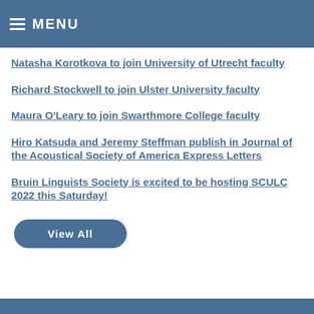MENU
Natasha Korotkova to join University of Utrecht faculty
Richard Stockwell to join Ulster University faculty
Maura O'Leary to join Swarthmore College faculty
Hiro Katsuda and Jeremy Steffman publish in Journal of the Acoustical Society of America Express Letters
Bruin Linguists Society is excited to be hosting SCULC 2022 this Saturday!
View All